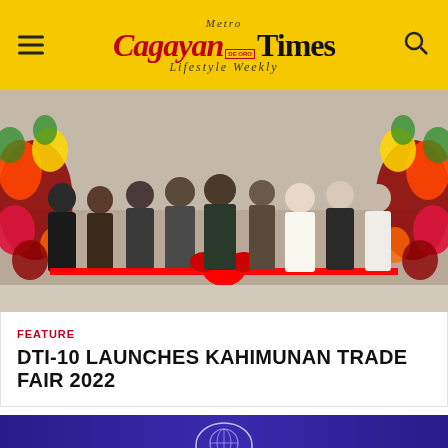Metro Cagayan De Oro Times — Lifestyle Weekly
[Figure (photo): Group of officials cutting a red ribbon at the Kahimunan Trade Fair 2022 launch, surrounded by colorful flower arrangements.]
FEATURE
DTI-10 LAUNCHES KAHIMUNAN TRADE FAIR 2022
[Figure (photo): Partial view of a second article with a purple/blue background and a trophy or award logo.]